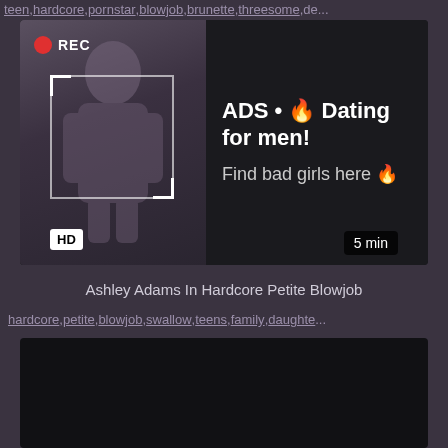teen, hardcore, pornstar, blowjob, brunette, threesome, de...
[Figure (photo): Video thumbnail with REC badge and camera viewfinder overlay showing a woman taking a selfie, with an advertisement overlay: ADS • 🔥 Dating for men! Find bad girls here 🔥]
HD
5 min
Ashley Adams In Hardcore Petite Blowjob
hardcore, petite, blowjob, swallow, teens, family, daughte...
[Figure (screenshot): Black video thumbnail area]